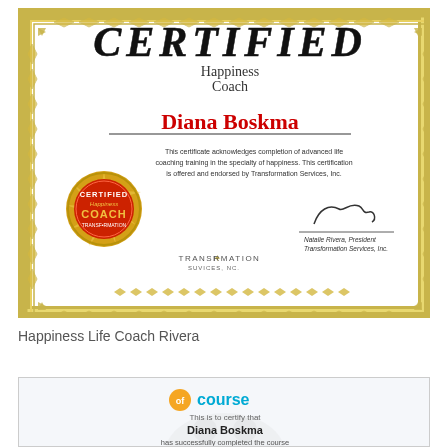[Figure (illustration): Certificate of completion for Happiness Coach issued to Diana Boskma by Transformation Services, Inc., signed by Natalie Rivera, President. Features gold ornamental border, red certified coach seal, and Transformation Services logo.]
Happiness Life Coach Rivera
[Figure (illustration): OfCourse certificate stating 'This is to certify that Diana Boskma has successfully completed the course' with OfCourse logo and background watermark of people.]